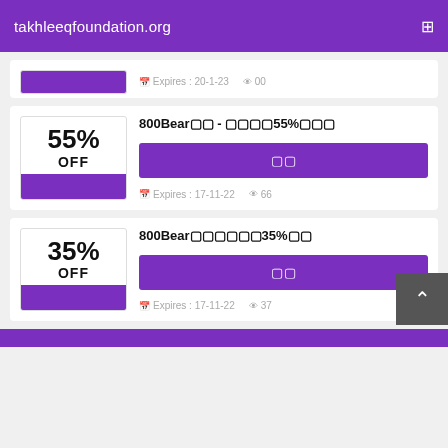takhleeqfoundation.org
Expires: 20-1-23   00
800Bear?? - ????55%????
55% OFF
????
Expires: 17-11-22   66
800Bear???????35%??
35% OFF
????
Expires: 17-11-22   37